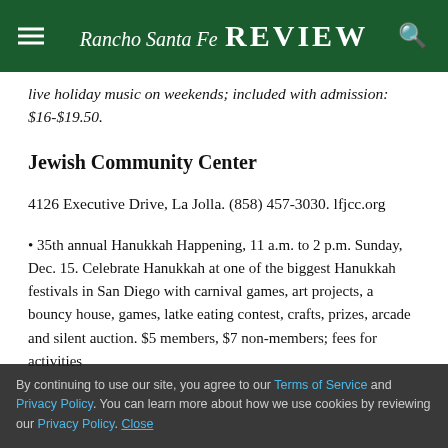Rancho Santa Fe Review
live holiday music on weekends; included with admission: $16-$19.50.
Jewish Community Center
4126 Executive Drive, La Jolla. (858) 457-3030. lfjcc.org
35th annual Hanukkah Happening, 11 a.m. to 2 p.m. Sunday, Dec. 15. Celebrate Hanukkah at one of the biggest Hanukkah festivals in San Diego with carnival games, art projects, a bouncy house, games, latke eating contest, crafts, prizes, arcade and silent auction. $5 members, $7 non-members; fees for activities.
By continuing to use our site, you agree to our Terms of Service and Privacy Policy. You can learn more about how we use cookies by reviewing our Privacy Policy. Close